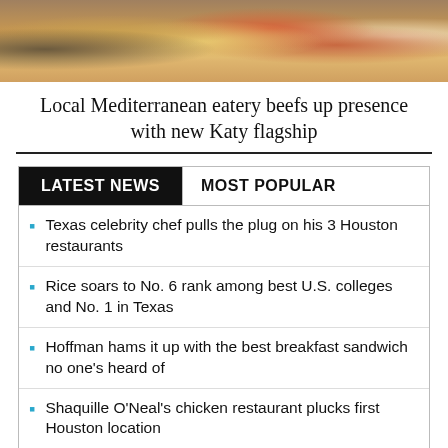[Figure (photo): Food photography showing chips, dips, and Mediterranean dishes in bowls]
Local Mediterranean eatery beefs up presence with new Katy flagship
Texas celebrity chef pulls the plug on his 3 Houston restaurants
Rice soars to No. 6 rank among best U.S. colleges and No. 1 in Texas
Hoffman hams it up with the best breakfast sandwich no one's heard of
Shaquille O'Neal's chicken restaurant plucks first Houston location
Local Mediterranean eatery beefs up presence with new Katy flagship